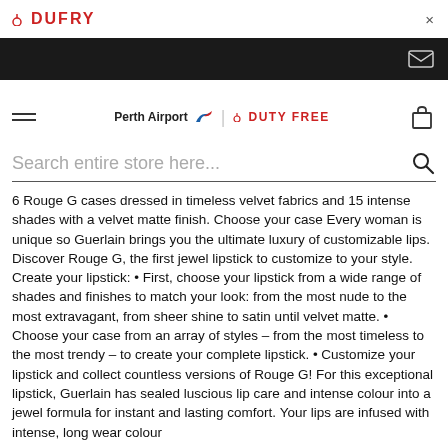DUFRY  ×
[Figure (screenshot): Dufry website navigation screenshot with dark top bar, Perth Airport Duty Free logo, search bar, and product description text]
6 Rouge G cases dressed in timeless velvet fabrics and 15 intense shades with a velvet matte finish. Choose your case Every woman is unique so Guerlain brings you the ultimate luxury of customizable lips. Discover Rouge G, the first jewel lipstick to customize to your style. Create your lipstick: • First, choose your lipstick from a wide range of shades and finishes to match your look: from the most nude to the most extravagant, from sheer shine to satin until velvet matte. • Choose your case from an array of styles – from the most timeless to the most trendy – to create your complete lipstick. • Customize your lipstick and collect countless versions of Rouge G! For this exceptional lipstick, Guerlain has sealed luscious lip care and intense colour into a jewel formula for instant and lasting comfort. Your lips are infused with intense, long wear colour